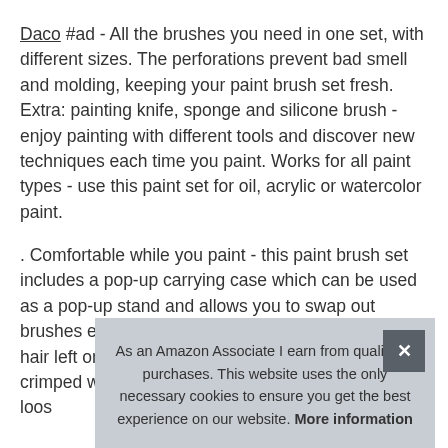Daco #ad - All the brushes you need in one set, with different sizes. The perforations prevent bad smell and molding, keeping your paint brush set fresh. Extra: painting knife, sponge and silicone brush - enjoy painting with different tools and discover new techniques each time you paint. Works for all paint types - use this paint set for oil, acrylic or watercolor paint.
. Comfortable while you paint - this paint brush set includes a pop-up carrying case which can be used as a pop-up stand and allows you to swap out brushes easily and comfortably while you work. No hair left on your painting - relax using these double crimped watercolor brushes for painting and have no loos... for A... and... Brush Set with Carry Case, Includes Painting Knife and Sponge
As an Amazon Associate I earn from qualifying purchases. This website uses the only necessary cookies to ensure you get the best experience on our website. More information